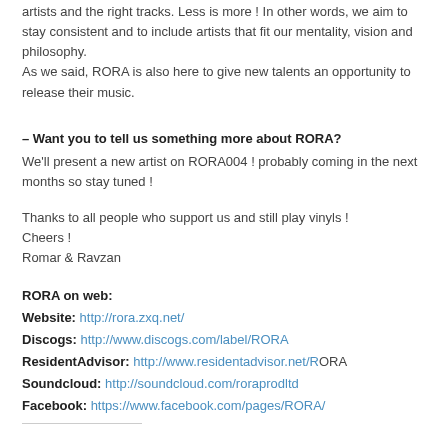artists and the right tracks. Less is more ! In other words, we aim to stay consistent and to include artists that fit our mentality, vision and philosophy.
As we said, RORA is also here to give new talents an opportunity to release their music.
– Want you to tell us something more about RORA?
We'll present a new artist on RORA004 ! probably coming in the next months so stay tuned !
Thanks to all people who support us and still play vinyls !
Cheers !
Romar & Ravzan
RORA on web:
Website: http://rora.zxq.net/
Discogs: http://www.discogs.com/label/RORA
ResidentAdvisor: http://www.residentadvisor.net/RORA
Soundcloud: http://soundcloud.com/roraprodltd
Facebook: https://www.facebook.com/pages/RORA/